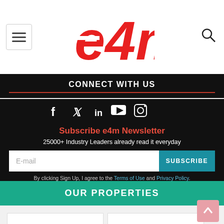[Figure (logo): e4m logo in red, stylized text]
CONNECT WITH US
[Figure (infographic): Social media icons: Facebook, Twitter, LinkedIn, YouTube, Instagram in white on black background]
Subscribe e4m Newsletter
25000+ Industry Leaders already read it everyday
E-mail | SUBSCRIBE
By clicking Sign Up, I agree to the Terms of Use and Privacy Policy.
OUR PROPERTIES
[Figure (logo): [IMPACT] logo in multicolor]
[Figure (logo): Realty+ logo in black bold text]
[Figure (logo): Pitch logo partial]
[Figure (logo): OUTFIT logo partial]